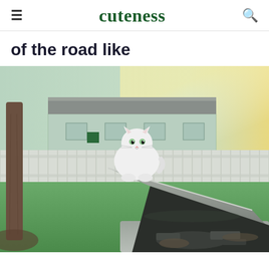cuteness
of the road like
[Figure (photo): A large fluffy white cat sitting on the tip of an open car hood (bonnet), staring at the camera. In the background is a white wooden fence, green lawn, bare trees, and a house with a metal roof. The car engine is visible with the hood propped open.]